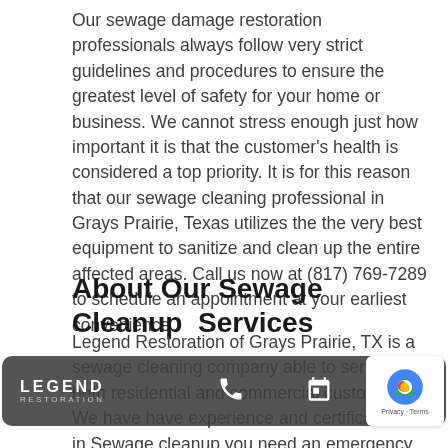Our sewage damage restoration professionals always follow very strict guidelines and procedures to ensure the greatest level of safety for your home or business. We cannot stress enough just how important it is that the customer's health is considered a top priority. It is for this reason that our sewage cleaning professional in Grays Prairie, Texas utilizes the the very best equipment to sanitize and clean up the entire affected areas. Call us now at (817) 769-7289 to schedule an appointment at your earliest convenience.
About Our Sewage Cleanup  Services
Legend Restoration of Grays Prairie, TX is a sewage cleaning company able to service both residential and commercial customers. We have have experience and certifications in Sewage cleanup you need an emergency sewage damage cleaning